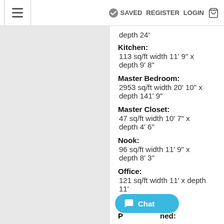≡  ✓ SAVED  REGISTER  LOGIN  🛒
depth 24'
Kitchen:
113 sq/ft width 11' 9" x depth 9' 8"
Master Bedroom:
2953 sq/ft width 20' 10" x depth 141' 9"
Master Closet:
47 sq/ft width 10' 7" x depth 4' 6"
Nook:
96 sq/ft width 11' 9" x depth 8' 3"
Office:
121 sq/ft width 11' x depth 11'
P...ned: